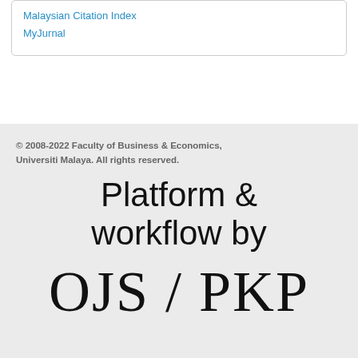Malaysian Citation Index
MyJurnal
© 2008-2022 Faculty of Business & Economics, Universiti Malaya. All rights reserved.
Platform & workflow by
[Figure (logo): OJS / PKP logo text in large serif font]